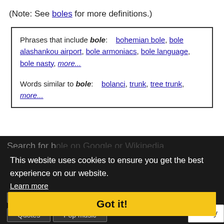(Note: See boles for more definitions.)
Phrases that include bole: bohemian bole, bole alashankou airport, bole armoniacs, bole language, bole nasty, more...

Words similar to bole: bolanci, trunk, tree trunk, more...
Search for bole on Google or Wikipedia
Mentions of the word bole:
Used in:
This website uses cookies to ensure you get the best experience on our website.
Learn more
Got it!